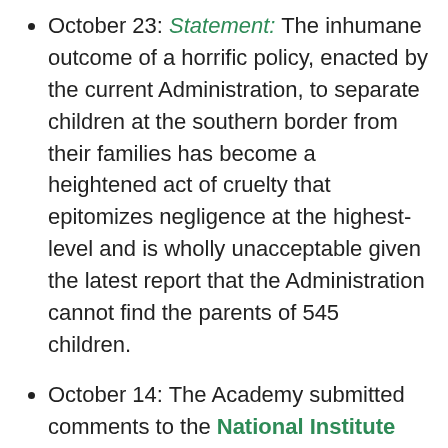October 23: Statement: The inhumane outcome of a horrific policy, enacted by the current Administration, to separate children at the southern border from their families has become a heightened act of cruelty that epitomizes negligence at the highest-level and is wholly unacceptable given the latest report that the Administration cannot find the parents of 545 children.
October 14: The Academy submitted comments to the National Institute for Occupational Safety and Health (NIOSH) in response to a request for